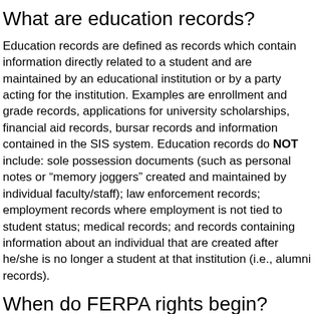What are education records?
Education records are defined as records which contain information directly related to a student and are maintained by an educational institution or by a party acting for the institution. Examples are enrollment and grade records, applications for university scholarships, financial aid records, bursar records and information contained in the SIS system. Education records do NOT include: sole possession documents (such as personal notes or “memory joggers” created and maintained by individual faculty/staff); law enforcement records; employment records where employment is not tied to student status; medical records; and records containing information about an individual that are created after he/she is no longer a student at that institution (i.e., alumni records).
When do FERPA rights begin?